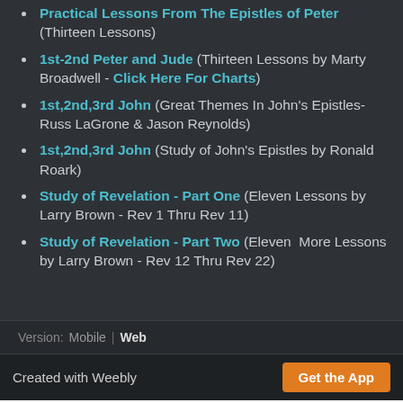Practical Lessons From The Epistles of Peter (Thirteen Lessons)
1st-2nd Peter and Jude (Thirteen Lessons by Marty Broadwell - Click Here For Charts)
1st,2nd,3rd John (Great Themes In John's Epistles-Russ LaGrone & Jason Reynolds)
1st,2nd,3rd John (Study of John's Epistles by Ronald Roark)
Study of Revelation - Part One (Eleven Lessons by Larry Brown - Rev 1 Thru Rev 11)
Study of Revelation - Part Two (Eleven More Lessons by Larry Brown - Rev 12 Thru Rev 22)
Version: Mobile | Web
Created with Weebly   Get the App
Bible, God, Christ, Heaven, Hell, Bible Commentary, Sermons, Powerpoint, PDF